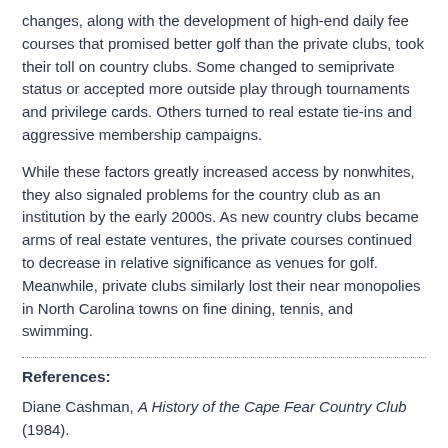changes, along with the development of high-end daily fee courses that promised better golf than the private clubs, took their toll on country clubs. Some changed to semiprivate status or accepted more outside play through tournaments and privilege cards. Others turned to real estate tie-ins and aggressive membership campaigns.
While these factors greatly increased access by nonwhites, they also signaled problems for the country club as an institution by the early 2000s. As new country clubs became arms of real estate ventures, the private courses continued to decrease in relative significance as venues for golf. Meanwhile, private clubs similarly lost their near monopolies in North Carolina towns on fine dining, tennis, and swimming.
References:
Diane Cashman, A History of the Cape Fear Country Club (1984).
James M. Mayo, The American Country Club: Its Origin and Development (1998).